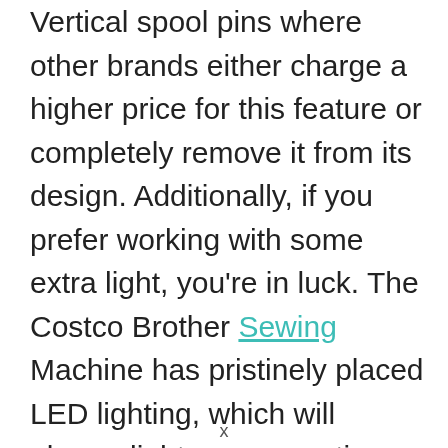Vertical spool pins where other brands either charge a higher price for this feature or completely remove it from its design. Additionally, if you prefer working with some extra light, you're in luck. The Costco Brother Sewing Machine has pristinely placed LED lighting, which will always light up your entire sewing surface.
x